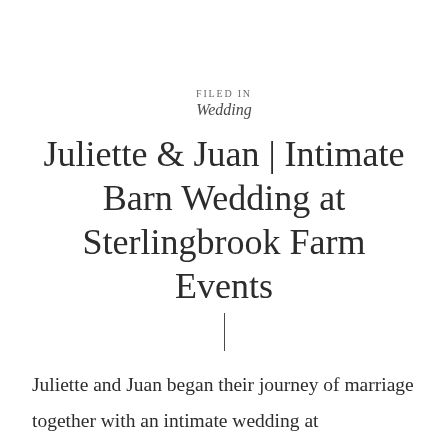FILED IN
Wedding
Juliette & Juan | Intimate Barn Wedding at Sterlingbrook Farm Events
Juliette and Juan began their journey of marriage together with an intimate wedding at Sterlingbrook Farm Events in